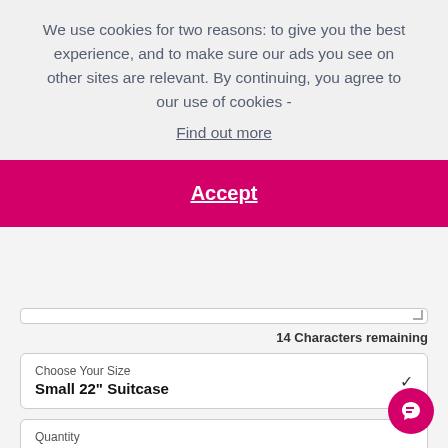We use cookies for two reasons: to give you the best experience, and to make sure our ads you see on other sites are relevant. By continuing, you agree to our use of cookies - Find out more
Accept
14 Characters remaining
Choose Your Size
Small 22" Suitcase
Quantity
1